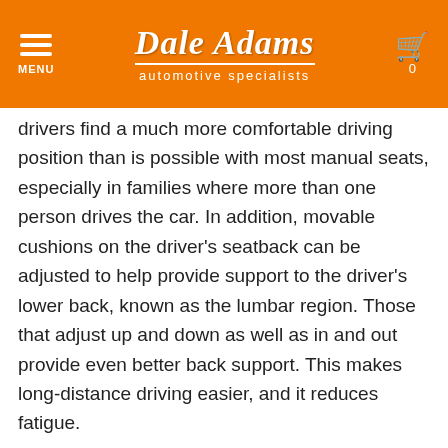MENU | Dale Adams automotive specialists | 0
drivers find a much more comfortable driving position than is possible with most manual seats, especially in families where more than one person drives the car. In addition, movable cushions on the driver's seatback can be adjusted to help provide support to the driver's lower back, known as the lumbar region. Those that adjust up and down as well as in and out provide even better back support. This makes long-distance driving easier, and it reduces fatigue.
“Manually adjustable seats and those that lack lumbar support can accelerate driver fatigue, even during short trips,” says Gabe Cha...